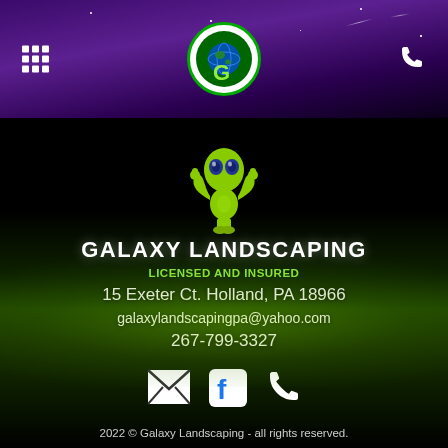[Figure (logo): Galaxy Landscaping app header bar with purple starry sky background, grid icon on left, circular green G logo in center, phone icon on right]
[Figure (illustration): Green alien character giving thumbs up, mascot for Galaxy Landscaping]
GALAXY LANDSCAPING
LICENSED AND INSURED
15 Exeter Ct. Holland, PA 18966
galaxylandscapingpa@yahoo.com
267-799-3327
[Figure (infographic): Three white icons: envelope/email icon, Facebook icon (f in rounded square), phone icon]
2022 © Galaxy Landscaping - all rights reserved.